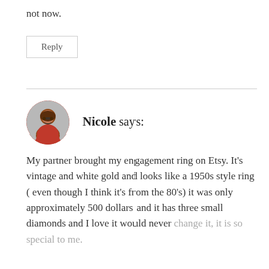not now.
Reply
Nicole says:
[Figure (photo): Circular avatar photo of Nicole, a woman with glasses and short reddish-brown hair, wearing a red top.]
My partner brought my engagement ring on Etsy. It’s vintage and white gold and looks like a 1950s style ring ( even though I think it’s from the 80’s) it was only approximately 500 dollars and it has three small diamonds and I love it would never change it, it is so special to me.